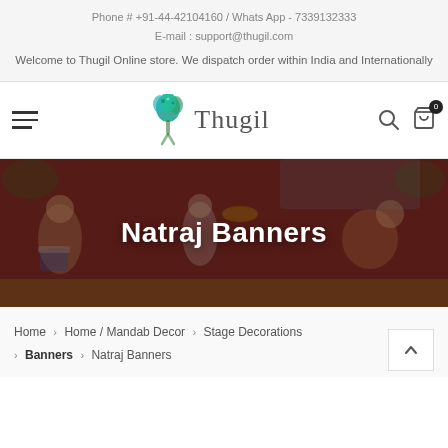Phone # +91-44-42104160 / Whats App - 7339132333
E-mail : support@thugil.com
Welcome to Thugil Online store. We dispatch order within India and Internationally
[Figure (logo): Thugil brand logo with a teal/blue peacock-tree illustration and 'Thugil' in gray serif font]
Natraj Banners
Home > Home / Mandab Decor > Stage Decorations > Banners > Natraj Banners